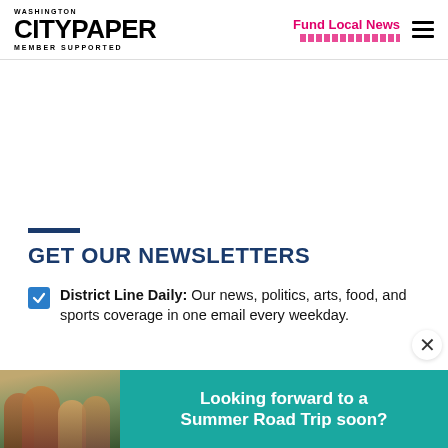Washington City Paper — MEMBER SUPPORTED | Fund Local News
GET OUR NEWSLETTERS
District Line Daily: Our news, politics, arts, food, and sports coverage in one email every weekday.
[Figure (photo): Advertisement banner: Looking forward to a Summer Road Trip soon?]